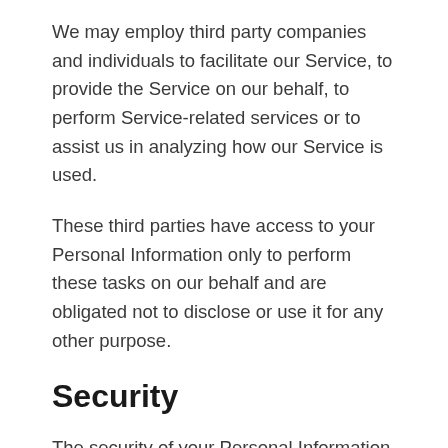We may employ third party companies and individuals to facilitate our Service, to provide the Service on our behalf, to perform Service-related services or to assist us in analyzing how our Service is used.
These third parties have access to your Personal Information only to perform these tasks on our behalf and are obligated not to disclose or use it for any other purpose.
Security
The security of your Personal Information is important to us, but remember that no method of transmission over the Internet, or method of electronic storage is 100% secure. While we strive